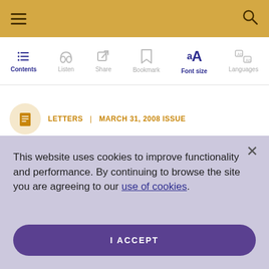Navigation bar with hamburger menu and search icon
[Figure (screenshot): Toolbar with Contents, Listen, Share, Bookmark, Font size (active), Languages navigation items]
LETTERS | MARCH 31, 2008 ISSUE
This website uses cookies to improve functionality and performance. By continuing to browse the site you are agreeing to our use of cookies.
I ACCEPT